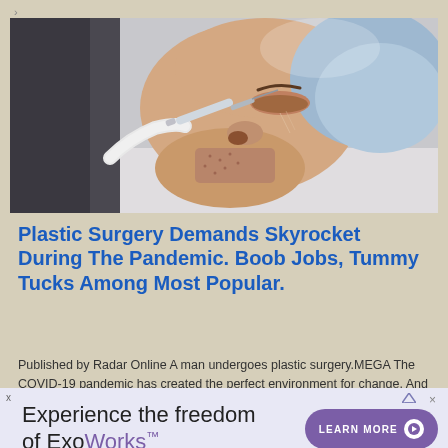[Figure (photo): A man lying back receiving a facial injection from a gloved hand, medical/cosmetic procedure setting]
Plastic Surgery Demands Skyrocket During The Pandemic. Boob Jobs, Tummy Tucks Among Most Popular.
Published by Radar Online A man undergoes plastic surgery.MEGA The COVID-19 pandemic has created the perfect environment for change. And for many, that meant enhancing their bodies via plastic surgery, Radar has learned. Demand for breast … Read More »
[Figure (illustration): Advertisement banner: Experience the freedom of ExoWorks™ with a LEARN MORE button]